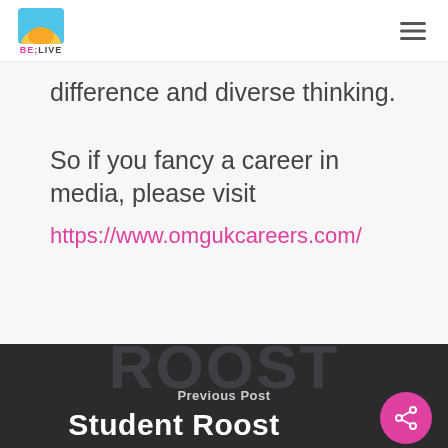BE;LIVE logo and navigation
difference and diverse thinking. So if you fancy a career in media, please visit https://www.omgukcareers.com/
Previous Post
Student Roost